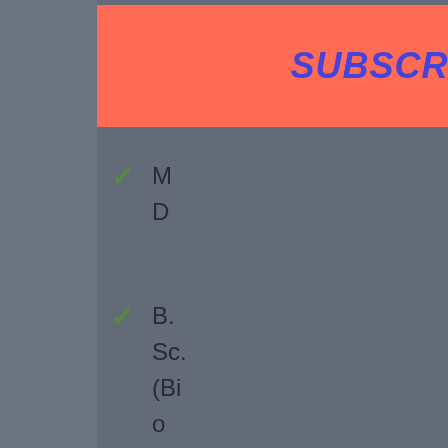[Figure (screenshot): Subscribe & Follow banner popup with salmon/orange background and blue italic bold text reading 'SUBSCRIBE & FOLLOW !' with a brown X close button in the top right corner.]
M D
B. Sc. (BioTech)
M. Sc. (BioTech)
[Figure (screenshot): BitLife advertisement banner with rainbow gradient background and text 'WHEN REAL LIFE IS QUARANTINED' with BitLife logo and character icons.]
[Figure (screenshot): Red CLOSE button overlay at bottom of page.]